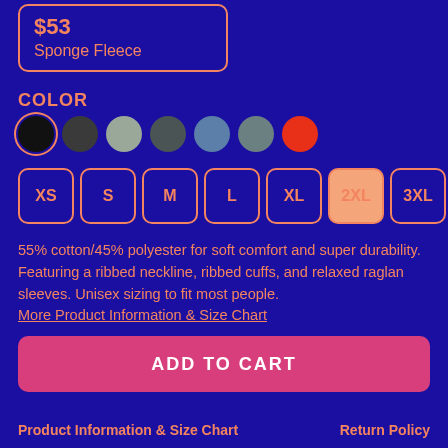$53
Sponge Fleece
COLOR
[Figure (other): Seven color swatches in a row: black (selected with ring), dark charcoal, light gray, dark gray, steel blue, muted teal, red-orange]
[Figure (other): Size selector buttons: XS, S, M, L, XL, 2XL (selected/highlighted), 3XL]
55% cotton/45% polyester for soft comfort and super durability. Featuring a ribbed neckline, ribbed cuffs, and relaxed raglan sleeves. Unisex sizing to fit most people.
More Product Information & Size Chart
ADD TO CART
Product Information & Size Chart    Return Policy